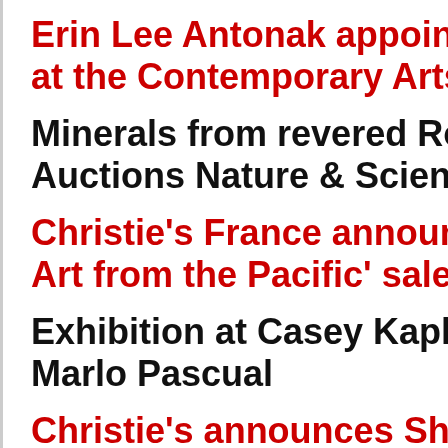Erin Lee Antonak appointe at the Contemporary Arts C
Minerals from revered Roc Auctions Nature & Science
Christie's France announc Art from the Pacific' sale
Exhibition at Casey Kaplan Marlo Pascual
Christie's announces Sha